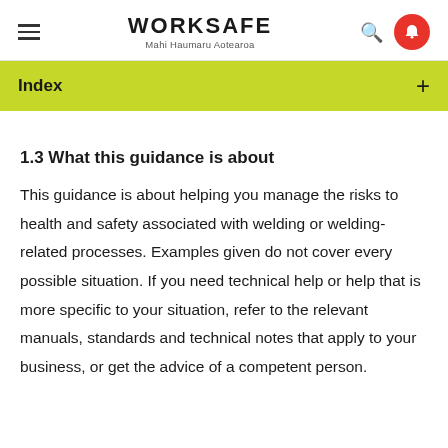WORKSAFE Mahi Haumaru Aotearoa
Index
1.3 What this guidance is about
This guidance is about helping you manage the risks to health and safety associated with welding or welding-related processes. Examples given do not cover every possible situation. If you need technical help or help that is more specific to your situation, refer to the relevant manuals, standards and technical notes that apply to your business, or get the advice of a competent person.